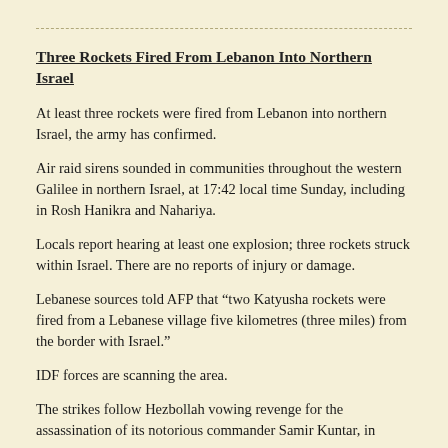Three Rockets Fired From Lebanon Into Northern Israel
At least three rockets were fired from Lebanon into northern Israel, the army has confirmed.
Air raid sirens sounded in communities throughout the western Galilee in northern Israel, at 17:42 local time Sunday, including in Rosh Hanikra and Nahariya.
Locals report hearing at least one explosion; three rockets struck within Israel. There are no reports of injury or damage.
Lebanese sources told AFP that “two Katyusha rockets were fired from a Lebanese village five kilometres (three miles) from the border with Israel.”
IDF forces are scanning the area.
The strikes follow Hezbollah vowing revenge for the assassination of its notorious commander Samir Kuntar, in